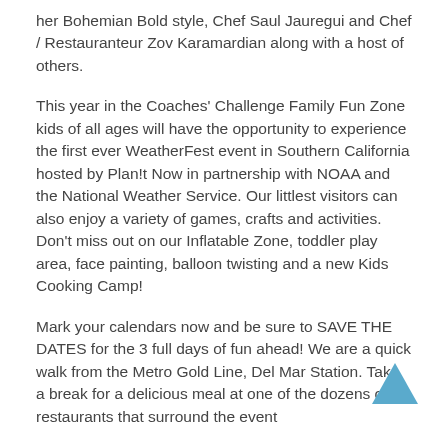her Bohemian Bold style, Chef Saul Jauregui and Chef / Restauranteur Zov Karamardian along with a host of others.
This year in the Coaches' Challenge Family Fun Zone kids of all ages will have the opportunity to experience the first ever WeatherFest event in Southern California hosted by Plan!t Now in partnership with NOAA and the National Weather Service. Our littlest visitors can also enjoy a variety of games, crafts and activities. Don't miss out on our Inflatable Zone, toddler play area, face painting, balloon twisting and a new Kids Cooking Camp!
Mark your calendars now and be sure to SAVE THE DATES for the 3 full days of fun ahead! We are a quick walk from the Metro Gold Line, Del Mar Station. Take a break for a delicious meal at one of the dozens of restaurants that surround the event